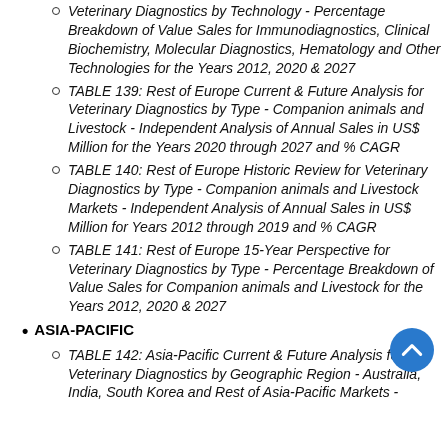Veterinary Diagnostics by Technology - Percentage Breakdown of Value Sales for Immunodiagnostics, Clinical Biochemistry, Molecular Diagnostics, Hematology and Other Technologies for the Years 2012, 2020 & 2027
TABLE 139: Rest of Europe Current & Future Analysis for Veterinary Diagnostics by Type - Companion animals and Livestock - Independent Analysis of Annual Sales in US$ Million for the Years 2020 through 2027 and % CAGR
TABLE 140: Rest of Europe Historic Review for Veterinary Diagnostics by Type - Companion animals and Livestock Markets - Independent Analysis of Annual Sales in US$ Million for Years 2012 through 2019 and % CAGR
TABLE 141: Rest of Europe 15-Year Perspective for Veterinary Diagnostics by Type - Percentage Breakdown of Value Sales for Companion animals and Livestock for the Years 2012, 2020 & 2027
ASIA-PACIFIC
TABLE 142: Asia-Pacific Current & Future Analysis for Veterinary Diagnostics by Geographic Region - Australia, India, South Korea and Rest of Asia-Pacific Markets -